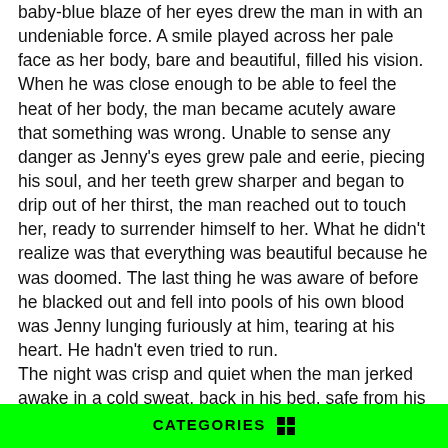baby-blue blaze of her eyes drew the man in with an undeniable force. A smile played across her pale face as her body, bare and beautiful, filled his vision. When he was close enough to be able to feel the heat of her body, the man became acutely aware that something was wrong. Unable to sense any danger as Jenny's eyes grew pale and eerie, piecing his soul, and her teeth grew sharper and began to drip out of her thirst, the man reached out to touch her, ready to surrender himself to her. What he didn't realize was that everything was beautiful because he was doomed. The last thing he was aware of before he blacked out and fell into pools of his own blood was Jenny lunging furiously at him, tearing at his heart. He hadn't even tried to run.
The night was crisp and quiet when the man jerked awake in a cold sweat, back in his bed, safe from his nightmares. A light breeze played with the flow-y white fabric of the curtains, and pools of glowing moonlight spilled onto the quilt. The man looked down to find his arm curled around a woman, still sleeping soundly. Jenny's chocolate brown hair rose and fell
CATEGORIES